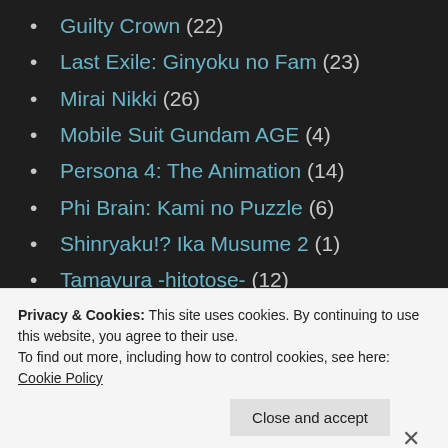Guilty Crown (22)
Last Exile: Ginyoku no Fam (23)
Mirai Nikki (26)
Mobile Suit Gundam AGE (4)
Persona 4: The Animation (14)
Phi Brain: Kami no Puzzle (6)
Shinryaku!? Ika Musume 2 (1)
Tamayura -hitotose- (12)
Un-Go (11)
Working'!! 2 (13)
Fall 2012 (182)
Privacy & Cookies: This site uses cookies. By continuing to use this website, you agree to their use.
To find out more, including how to control cookies, see here: Cookie Policy
Close and accept